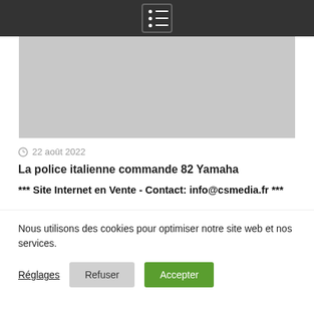Navigation menu bar with hamburger icon
[Figure (photo): Gray placeholder image area representing an article photo]
22 août 2022
La police italienne commande 82 Yamaha
*** Site Internet en Vente - Contact: info@csmedia.fr ***
Nous utilisons des cookies pour optimiser notre site web et nos services.
Réglages  Refuser  Accepter